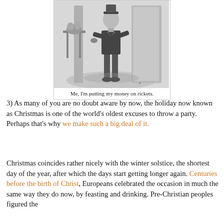[Figure (illustration): Black and white illustration of a man standing in a doorway, holding something, with a table visible to the left.]
Me, I'm putting my money on rickets.
3) As many of you are no doubt aware by now, the holiday now known as Christmas is one of the world's oldest excuses to throw a party. Perhaps that's why we make such a big deal of it.
Christmas coincides rather nicely with the winter solstice, the shortest day of the year, after which the days start getting longer again. Centuries before the birth of Christ, Europeans celebrated the occasion in much the same way they do now, by feasting and drinking. Pre-Christian peoples figured the